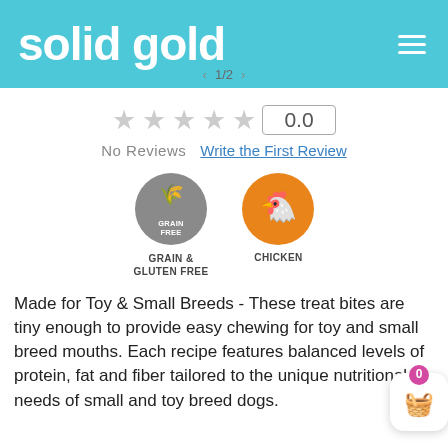[Figure (logo): Solid Gold brand logo in white text on teal/cyan background, with hamburger menu icon on the right]
[Figure (other): Star rating display showing 5 empty/gray stars with rating score 0.0 in a box]
No Reviews   Write the First Review
[Figure (infographic): Two circular badges: gray circle with grain icon labeled GRAIN & GLUTEN FREE, orange circle with chicken icon labeled CHICKEN]
Made for Toy & Small Breeds - These treat bites are tiny enough to provide easy chewing for toy and small breed mouths. Each recipe features balanced levels of protein, fat and fiber tailored to the unique nutritional needs of small and toy breed dogs.